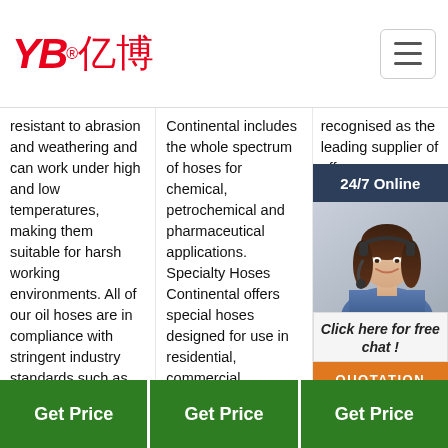[Figure (logo): YB亿博 company logo in red italic text with registered trademark symbol]
resistant to abrasion and weathering and can work under high and low temperatures, making them suitable for harsh working environments. All of our oil hoses are in compliance with stringent industry standards such as REACH, RoHS, EN and MSHA and ...
Continental includes the whole spectrum of hoses for chemical, petrochemical and pharmaceutical applications. Specialty Hoses Continental offers special hoses designed for use in residential, commercial, agricultural, in-plant and a variety of other applications.
recognised as the leading supplier of offshore hoses, oil, petrochemical company worldwide, has established Oil Industry and the supply hoses to an offshore buoy operation in 1958.
[Figure (photo): 24/7 Online customer service widget with photo of woman wearing headset, click here for free chat link, and QUOTATION orange button]
TOP
Get Price
Get Price
Get Price